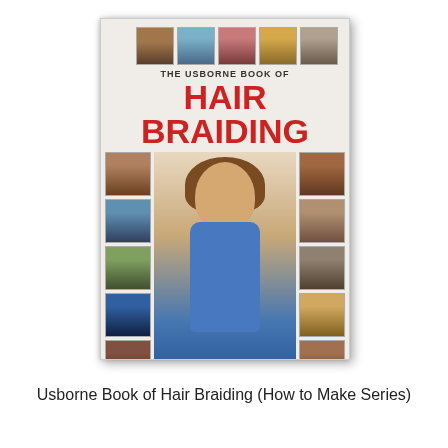[Figure (photo): Book cover of 'The Usborne Book of Hair Braiding (How to Make Series)' showing a girl with braided hair surrounded by small portrait photos of various children with different hairstyles.]
Usborne Book of Hair Braiding (How to Make Series)